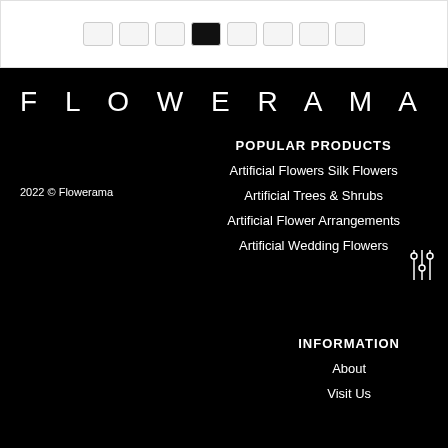[Figure (other): Pagination buttons, one active (black), rest outlined]
FLOWERAMA
2022 © Flowerama
POPULAR PRODUCTS
Artificial Flowers Silk Flowers
Artificial Trees & Shrubs
Artificial Flower Arrangements
Artificial Wedding Flowers
[Figure (other): Filter/settings icon with sliders]
INFORMATION
About
Visit Us